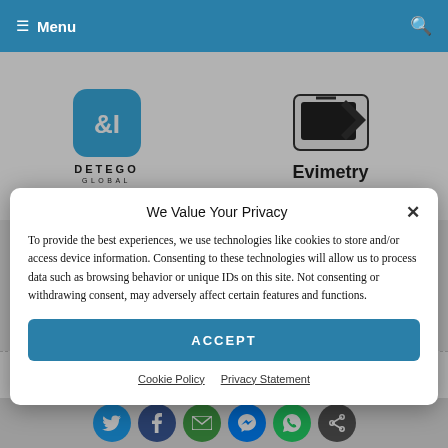Menu
[Figure (logo): Detego Global logo with stylized W&I icon in blue rounded square]
[Figure (logo): Evimetry logo with stylized device icon]
We Value Your Privacy
To provide the best experiences, we use technologies like cookies to store and/or access device information. Consenting to these technologies will allow us to process data such as browsing behavior or unique IDs on this site. Not consenting or withdrawing consent, may adversely affect certain features and functions.
ACCEPT
Cookie Policy   Privacy Statement
RE: Full file system extraction for iOS devices
[Figure (other): Social share buttons: Twitter, Facebook, Email, Messenger, WhatsApp, Share]